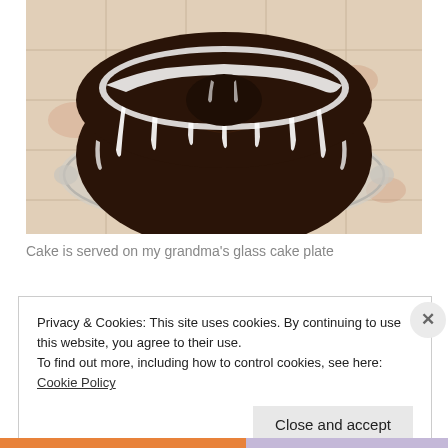[Figure (photo): A dark chocolate bundt cake with white glaze drizzled over it, served on a scalloped glass cake plate, sitting on a floral patterned tablecloth or mat]
Cake is served on my grandma’s glass cake plate
Privacy & Cookies: This site uses cookies. By continuing to use this website, you agree to their use.
To find out more, including how to control cookies, see here: Cookie Policy
Close and accept